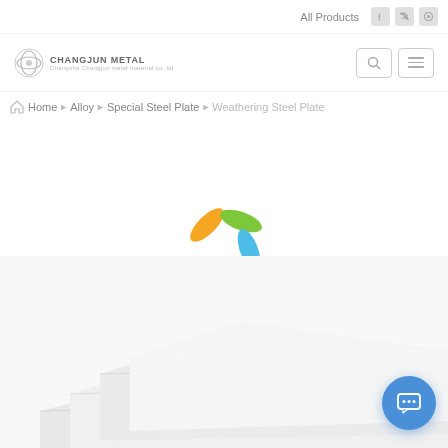All Products
[Figure (logo): Changjun Metal company logo with circular icon and company name]
Home > Alloy > Special Steel Plate > Weathering Steel Plate
[Figure (other): Colorful loading spinner with four oval shapes in orange, green, blue, and red arranged in a circular pattern]
[Figure (photo): Stack of white/light gray steel plates fanned out, shown from an angle]